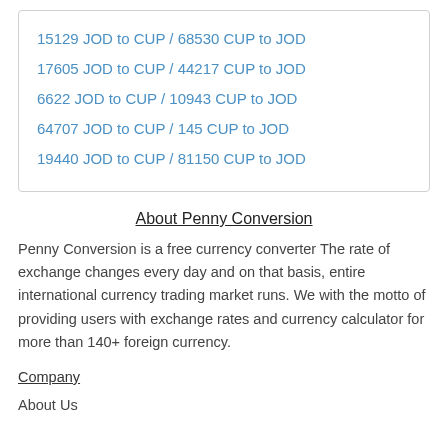15129 JOD to CUP / 68530 CUP to JOD
17605 JOD to CUP / 44217 CUP to JOD
6622 JOD to CUP / 10943 CUP to JOD
64707 JOD to CUP / 145 CUP to JOD
19440 JOD to CUP / 81150 CUP to JOD
About Penny Conversion
Penny Conversion is a free currency converter The rate of exchange changes every day and on that basis, entire international currency trading market runs. We with the motto of providing users with exchange rates and currency calculator for more than 140+ foreign currency.
Company
About Us